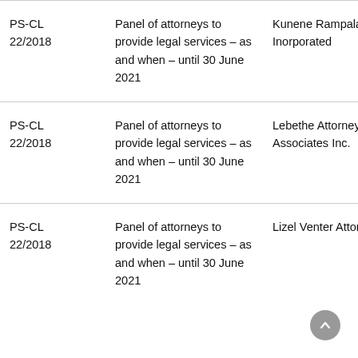| PS-CL 22/2018 | Panel of attorneys to provide legal services – as and when – until 30 June 2021 | Kunene Rampala Inorporated |
| PS-CL 22/2018 | Panel of attorneys to provide legal services – as and when – until 30 June 2021 | Lebethe Attorneys & Associates Inc. |
| PS-CL 22/2018 | Panel of attorneys to provide legal services – as and when – until 30 June 2021 | Lizel Venter Attonryes |